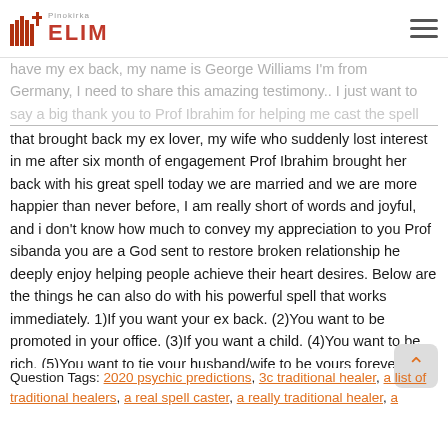Pinokirka ELIM
have my ex back, my name is George Williams I'm from Germany, I need to share this amazing testimony.. I just want to say a big thank you to Prof Ibrahim for helping me cast the spell that brought back my ex lover, my wife who suddenly lost interest in me after six month of engagement Prof Ibrahim brought her back with his great spell today we are married and we are more happier than never before, I am really short of words and joyful, and i don't know how much to convey my appreciation to you Prof sibanda you are a God sent to restore broken relationship he deeply enjoy helping people achieve their heart desires. Below are the things he can also do with his powerful spell that works immediately. 1)If you want your ex back. (2)You want to be promoted in your office. (3)If you want a child. (4)You want to be rich. (5)You want to tie your husband/wife to be yours forever. (6)If you need financial assistance. (7)If you want to stop your Divorce (8)Marriage Spells (9)Miracle Spell (10)Lottery and lotto spell (11) magic spell (e.t.c)
Website:: http://www.profsibanda.co.za
Question Tags: 2020 psychic predictions, 3c traditional healer, a list of traditional healers, a real spell caster, a really traditional healer, a